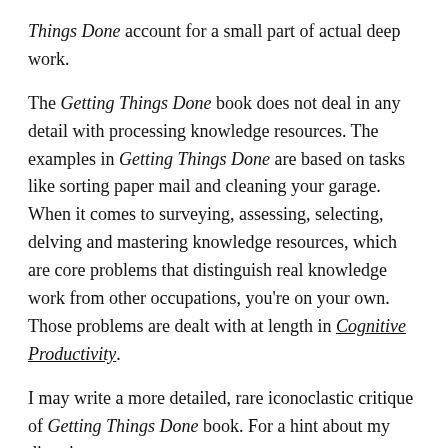Things Done account for a small part of actual deep work.
The Getting Things Done book does not deal in any detail with processing knowledge resources. The examples in Getting Things Done are based on tasks like sorting paper mail and cleaning your garage. When it comes to surveying, assessing, selecting, delving and mastering knowledge resources, which are core problems that distinguish real knowledge work from other occupations, you're on your own. Those problems are dealt with at length in Cognitive Productivity.
I may write a more detailed, rare iconoclastic critique of Getting Things Done book. For a hint about my direction,
read the comments about it in Cognitive Productivity carefully,
try comparing that book to Cognitive Productivity.